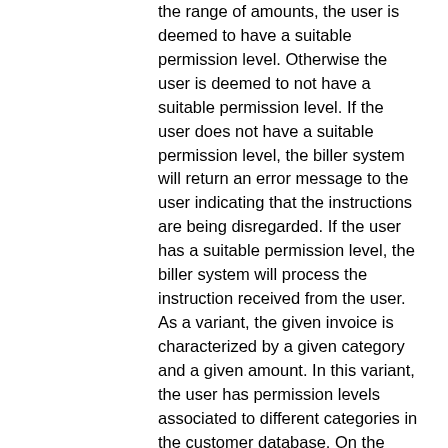the range of amounts, the user is deemed to have a suitable permission level. Otherwise the user is deemed to not have a suitable permission level. If the user does not have a suitable permission level, the biller system will return an error message to the user indicating that the instructions are being disregarded. If the user has a suitable permission level, the biller system will process the instruction received from the user. As a variant, the given invoice is characterized by a given category and a given amount. In this variant, the user has permission levels associated to different categories in the customer database. On the basis of the given category and given amount of the given invoice, if the user has a suitable permission level, the biller system will process the instruction received from the user. In yet another variant, permission levels are further conditioned on the basis the privileges defining stages associated with the user. On the basis of the processing stage of the invoice and given amount of the given invoice, if the user has a suitable permission level, the biller system will